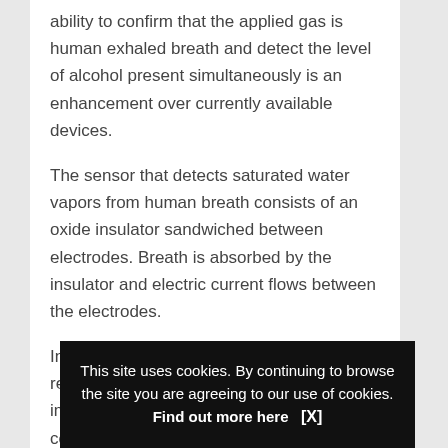ability to confirm that the applied gas is human exhaled breath and detect the level of alcohol present simultaneously is an enhancement over currently available devices.
The sensor that detects saturated water vapors from human breath consists of an oxide insulator sandwiched between electrodes. Breath is absorbed by the insulator and electric current flows between the electrodes.
In compliance with Japan's regulations related to drink driving, the device has an improved ability to measure the ethanol concentration of exhaled breath. T… three ty… detect e…
This site uses cookies. By continuing to browse the site you are agreeing to our use of cookies. Find out more here   [X]